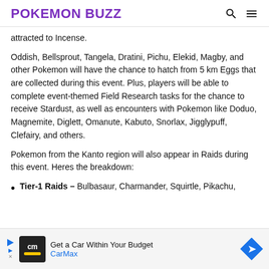POKEMON BUZZ
attracted to Incense.
Oddish, Bellsprout, Tangela, Dratini, Pichu, Elekid, Magby, and other Pokemon will have the chance to hatch from 5 km Eggs that are collected during this event. Plus, players will be able to complete event-themed Field Research tasks for the chance to receive Stardust, as well as encounters with Pokemon like Doduo, Magnemite, Diglett, Omanute, Kabuto, Snorlax, Jigglypuff, Clefairy, and others.
Pokemon from the Kanto region will also appear in Raids during this event. Heres the breakdown:
Tier-1 Raids – Bulbasaur, Charmander, Squirtle, Pikachu,
[Figure (other): CarMax advertisement banner: 'Get a Car Within Your Budget' with CarMax logo and navigation arrow icon]